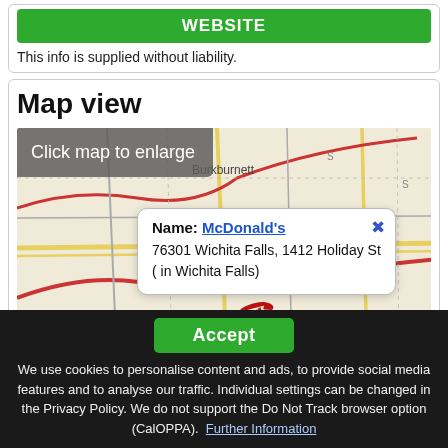[Figure (screenshot): Green website button (partial, top of page)]
This info is supplied without liability.
Map view
[Figure (map): Map showing Wichita Falls area with McDonald's location popup. Popup shows: Name: McDonald's, 76301 Wichita Falls, 1412 Holiday St (in Wichita Falls). Map shows area including Burkburnett, Electra, Wichita Falls, Henrietta.]
[Figure (screenshot): Accept button (green) and cookie consent banner with text: We use cookies to personalise content and ads, to provide social media features and to analyse our traffic. Individual settings can be changed in the Privacy Policy. We do not support the Do Not Track browser option (CalOPPA). Further Information link.]